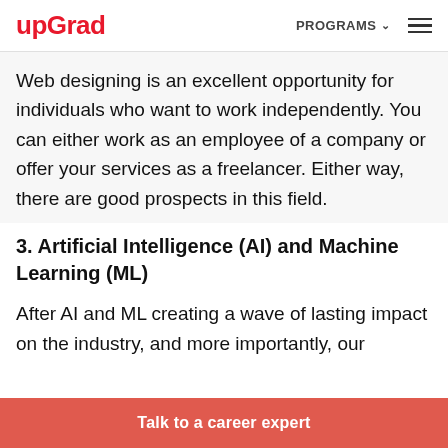upGrad | PROGRAMS
Web designing is an excellent opportunity for individuals who want to work independently. You can either work as an employee of a company or offer your services as a freelancer. Either way, there are good prospects in this field.
3. Artificial Intelligence (AI) and Machine Learning (ML)
After AI and ML creating a wave of lasting impact on the industry, and more importantly, our
Talk to a career expert